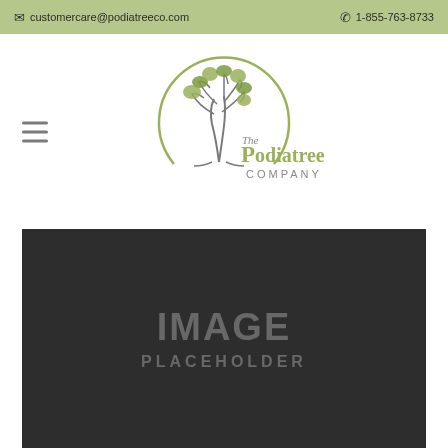✉ customercare@podiatreeco.com  ✆ 1-855-763-8733
[Figure (logo): The Podiatree Company logo with a tree graphic inside a circle arc, green and gray text]
[Figure (photo): Image placeholder — dark gray rectangle with 'IMAGE PLACEHOLDER' text]